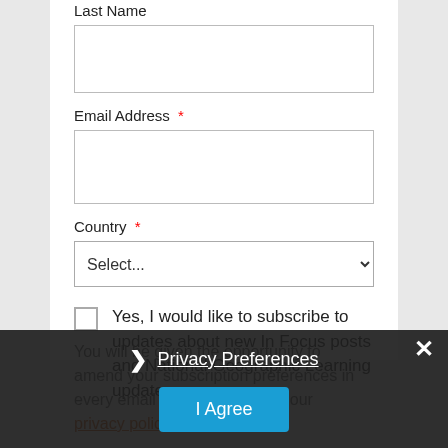Last Name
Email Address *
Country *
Yes, I would like to subscribe to updates about new In Focus posts and National Geographic Learning updates.
You will be given the opportunity to amend your subscription preferences in every email you receive. View our privacy policy.
Privacy Preferences
I Agree